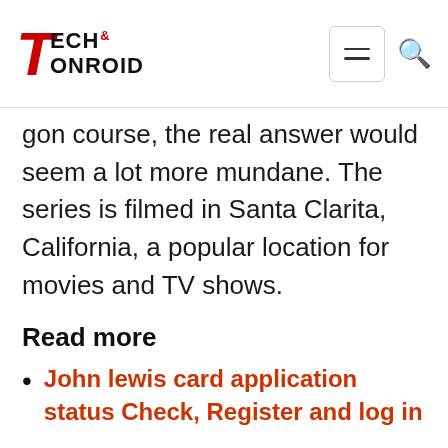Tech & Onroid
gon course, the real answer would seem a lot more mundane. The series is filmed in Santa Clarita, California, a popular location for movies and TV shows.
Read more
John lewis card application status Check, Register and log in
Flexigroup credit card Humm 90 Master card & contact number